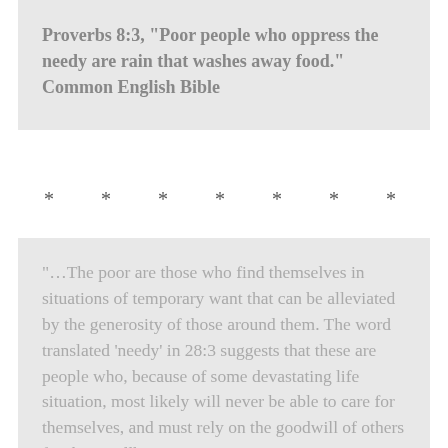Proverbs 8:3, “Poor people who oppress the needy are rain that washes away food.” Common English Bible
* * * * * * *
“…The poor are those who find themselves in situations of temporary want that can be alleviated by the generosity of those around them. The word translated ‘needy’ in 28:3 suggests that these are people who, because of some devastating life situation, most likely will never be able to care for themselves, and must rely on the goodwill of others for their wellbeing.” Common